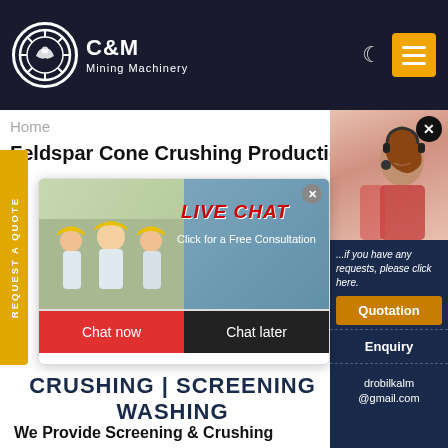C&M Mining Machinery
Home
Feldspar Cone Crushing Production y
[Figure (screenshot): Live chat popup overlay with workers in hard hats, 'LIVE CHAT' in red, 'Click for a Free Consultation', Chat now and Chat later buttons]
[Figure (photo): Customer support woman with headset on dark blue background, with Quotation and Enquiry buttons and drobilkalm@gmail.com email]
CRUSHING | SCREENING WASHING
We Provide Screening & Crushing Equipment To Serve The Quarry, Construction, Recycling, Mining And Sand...